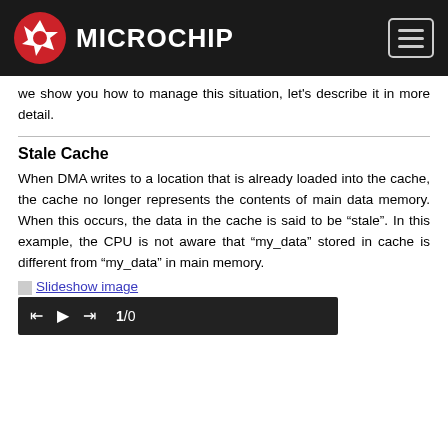Microchip
we show you how to manage this situation, let's describe it in more detail.
Stale Cache
When DMA writes to a location that is already loaded into the cache, the cache no longer represents the contents of main data memory. When this occurs, the data in the cache is said to be “stale”. In this example, the CPU is not aware that “my_data” stored in cache is different from “my_data” in main memory.
[Figure (screenshot): Slideshow image placeholder with media controls showing 1/0]
Slideshow image